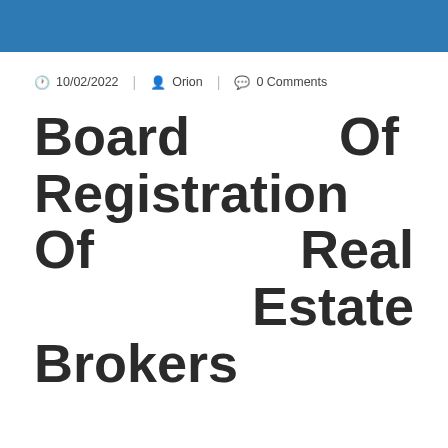10/02/2022  |  Orion  |  0 Comments
Board Of Registration Of Real Estate Brokers And Salespersons
Apartment buildings are sometimes thought-about commercial, even though they're used for residences,